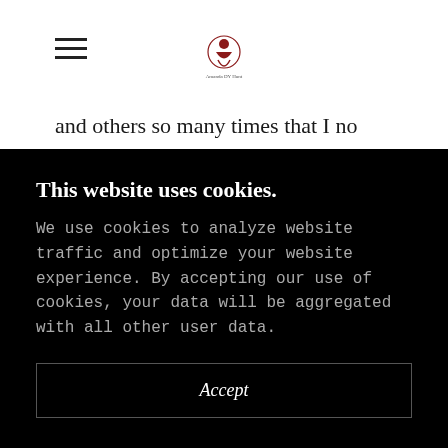[hamburger menu icon] [site logo]
and others so many times that I no longer trust myself. How can I trust God -or other people- when I struggle to trust myself?
Track record. I can only go off of what has already been done-and what is being done now. I have to learn how to
This website uses cookies.
We use cookies to analyze website traffic and optimize your website experience. By accepting our use of cookies, your data will be aggregated with all other user data.
Accept